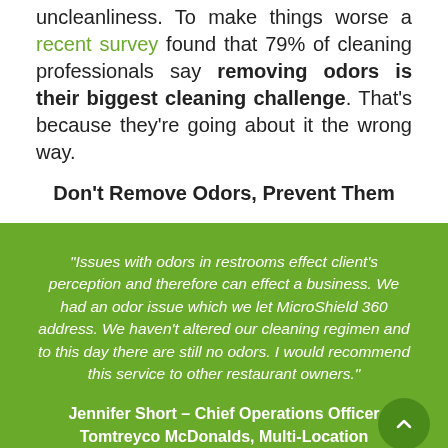uncleanliness. To make things worse a recent survey found that 79% of cleaning professionals say removing odors is their biggest cleaning challenge. That's because they're going about it the wrong way.
Don't Remove Odors, Prevent Them
“Issues with odors in restrooms effect client’s perception and therefore can effect a business. We had an odor issue which we let MicroShield 360 address. We haven’t altered our cleaning regimen and to this day there are still no odors. I would recommend this service to other restaurant owners.”
Jennifer Short – Chief Operations Officer Tomtreyco McDonalds, Multi-Location